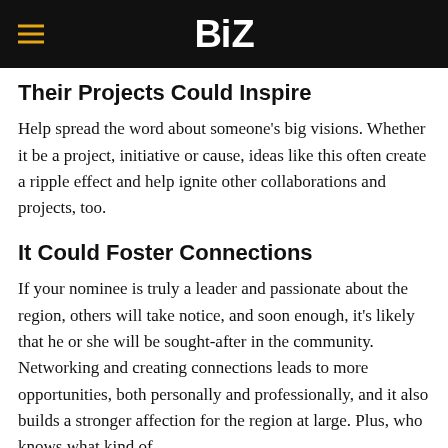BiZ
Their Projects Could Inspire
Help spread the word about someone's big visions. Whether it be a project, initiative or cause, ideas like this often create a ripple effect and help ignite other collaborations and projects, too.
It Could Foster Connections
If your nominee is truly a leader and passionate about the region, others will take notice, and soon enough, it's likely that he or she will be sought-after in the community. Networking and creating connections leads to more opportunities, both personally and professionally, and it also builds a stronger affection for the region at large. Plus, who knows what kind of